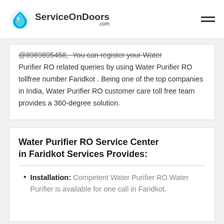ServiceOnDoors .com
@8989895458,- You can register your Water Purifier RO related queries by using Water Purifier RO tollfree number Faridkot . Being one of the top companies in India, Water Purifier RO customer care toll free team provides a 360-degree solution.
Water Purifier RO Service Center in Faridkot Services Provides:
Installation: Competent Water Purifier RO Water Purifier is available for one call in Faridkot.